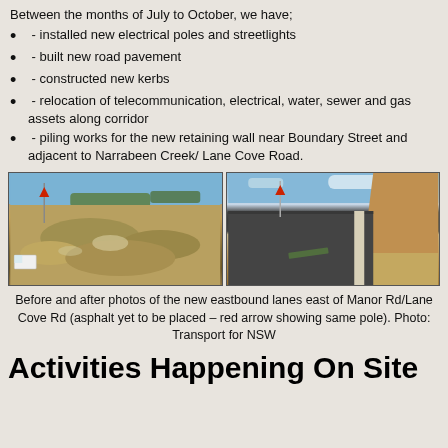Between the months of July to October, we have;
- installed new electrical poles and streetlights
- built new road pavement
- constructed new kerbs
- relocation of telecommunication, electrical, water, sewer and gas assets along corridor
- piling works for the new retaining wall near Boundary Street and adjacent to Narrabeen Creek/ Lane Cove Road.
[Figure (photo): Before and after photos showing the new eastbound lanes east of Manor Rd/Lane Cove Rd. Left photo shows a construction site with rocky terrain and a white truck. Right photo shows the completed new road pavement with a freshly constructed kerb and an earthen embankment on the right side. Both photos have a red arrow indicating the same pole.]
Before and after photos of the new eastbound lanes east of Manor Rd/Lane Cove Rd (asphalt yet to be placed – red arrow showing same pole). Photo: Transport for NSW
Activities Happening On Site